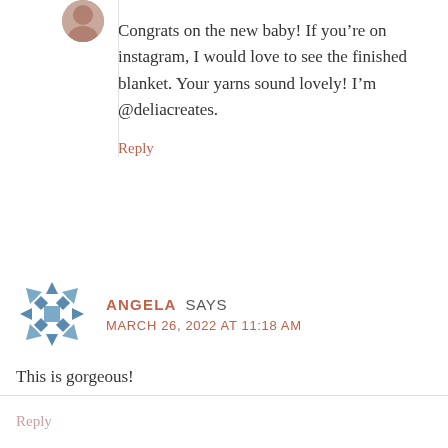Congrats on the new baby! If you’re on instagram, I would love to see the finished blanket. Your yarns sound lovely! I’m @deliacreates.
Reply
ANGELA SAYS
MARCH 26, 2022 AT 11:18 AM
This is gorgeous!
Reply